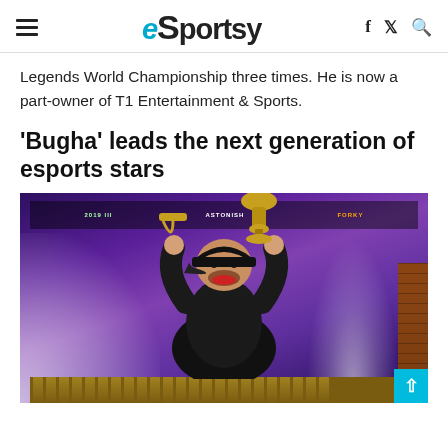eSportsy
Legends World Championship three times. He is now a part-owner of T1 Entertainment & Sports.
‘Bugha’ leads the next generation of esports stars
[Figure (photo): A young esports player in a black cap and jacket celebrating, holding a large golden trophy above his head with mouth open in excitement. The background shows a purple-lit arena stage with smoke effects and colorful LED screens.]